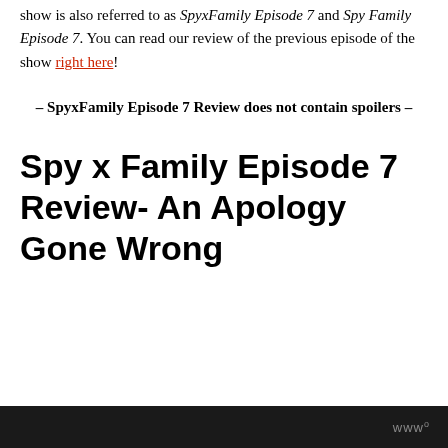show is also referred to as SpyxFamily Episode 7 and Spy Family Episode 7. You can read our review of the previous episode of the show right here!
– SpyxFamily Episode 7 Review does not contain spoilers –
Spy x Family Episode 7 Review- An Apology Gone Wrong
www°